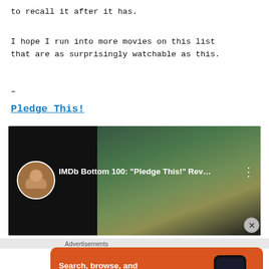to recall it after it has.
I hope I run into more movies on this list
that are as surprisingly watchable as this.
–
Pledge This!
[Figure (screenshot): Video thumbnail for IMDb Bottom 100: 'Pledge This!' Rev... with avatar of reviewer on left and movie scene on right]
Advertisements
[Figure (screenshot): DuckDuckGo advertisement banner: Search, browse, and email with more privacy. All in One Free App.]